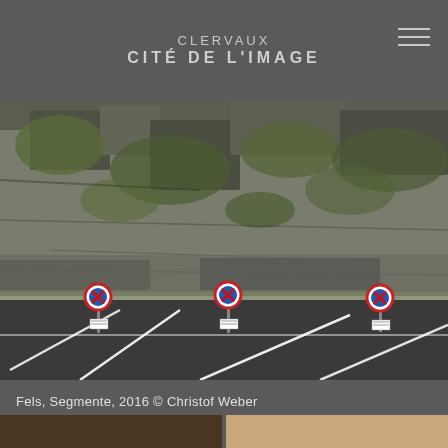CLERVAUX CITÉ DE L'IMAGE
[Figure (photo): Photograph of a parking lot with white line markings on dark asphalt, in front of a large rocky cliff face covered with moss and vegetation. Three red-and-blue circular no-parking signs on poles are visible along the edge of the lot.]
Fels, Segmente, 2016 © Christof Weber
[Figure (photo): Partial view of two photographs side by side: left shows dark brown textured surface (wood or bark), right shows light golden/sandy textured surface.]